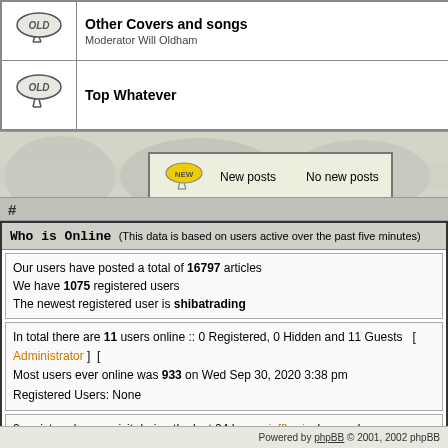| Icon | Forum |
| --- | --- |
| OLD icon | Other Covers and songs
Moderator Will Oldham |
| OLD icon | Top Whatever |
[Figure (screenshot): phpBB forum banner with watermark illustration and legend showing NEW/No new posts icons]
Who is Online  (This data is based on users active over the past five minutes)
Our users have posted a total of 16797 articles
We have 1075 registered users
The newest registered user is shibatrading
In total there are 11 users online :: 0 Registered, 0 Hidden and 11 Guests   [ Administrator ] [
Most users ever online was 933 on Wed Sep 30, 2020 3:38 pm
Registered Users: None
2 registered users visit during the last 24 hours: jefflewis, lauragek
Log in
Username:    Password:    Log me o
Powered by phpBB © 2001, 2002 phpBB